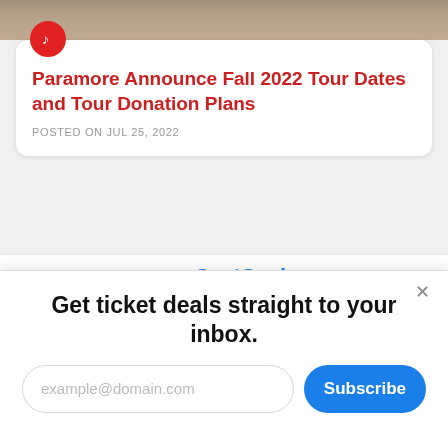[Figure (photo): Top strip showing partial photo of people, cropped at top of page]
Paramore Announce Fall 2022 Tour Dates and Tour Donation Plans
POSTED ON JUL 25, 2022
[Figure (logo): SeatGeek logo partially visible — blue ticket icon and SeatGeek text in blue]
Get ticket deals straight to your inbox.
example@domain.com
Subscribe